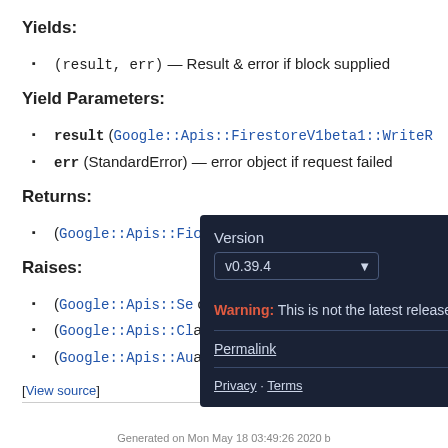Yields:
(result, err) — Result & error if block supplied
Yield Parameters:
result (Google::Apis::FirestoreV1beta1::WriteR...
err (StandardError) — error object if request failed
Returns:
(Google::Apis::Fi... ons
Raises:
(Google::Apis::Se... on t
(Google::Apis::Cl... alid
(Google::Apis::Au... ation
[View source]
[Figure (screenshot): Version popup overlay showing v0.39.4 selected, a warning that this is not the latest release, a Permalink link, and Privacy/Terms links at the bottom.]
Generated on Mon May 18 03:49:26 2020 b